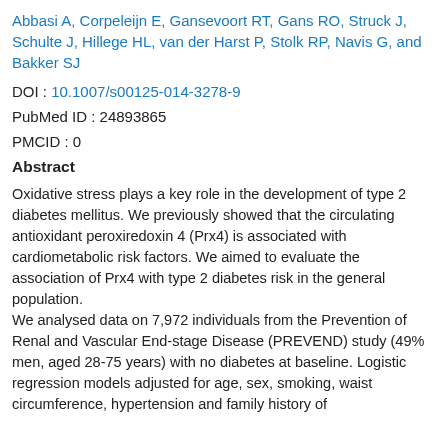Abbasi A, Corpeleijn E, Gansevoort RT, Gans RO, Struck J, Schulte J, Hillege HL, van der Harst P, Stolk RP, Navis G, and Bakker SJ
DOI : 10.1007/s00125-014-3278-9
PubMed ID : 24893865
PMCID : 0
Abstract
Oxidative stress plays a key role in the development of type 2 diabetes mellitus. We previously showed that the circulating antioxidant peroxiredoxin 4 (Prx4) is associated with cardiometabolic risk factors. We aimed to evaluate the association of Prx4 with type 2 diabetes risk in the general population.
We analysed data on 7,972 individuals from the Prevention of Renal and Vascular End-stage Disease (PREVEND) study (49% men, aged 28-75 years) with no diabetes at baseline. Logistic regression models adjusted for age, sex, smoking, waist circumference, hypertension and family history of